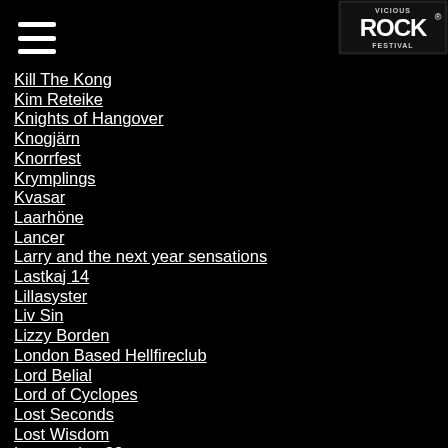[Figure (logo): Vicious Rock Festival logo - white text on black background]
Kill The Kong
Kim Reteike
Knights of Hangover
Knogjärn
Knorrfest
Krymplings
Kvasar
Laarhöne
Lancer
Larry and the next year sensations
Lastkaj 14
Lillasyster
Liv Sin
Lizzy Borden
London Based Hellfireclub
Lord Belial
Lord of Cyclopes
Lost Seconds
Lost Wisdom
Love and a .38
Luftgitarr SM
Luftslott
M.ill.ion
Manthra